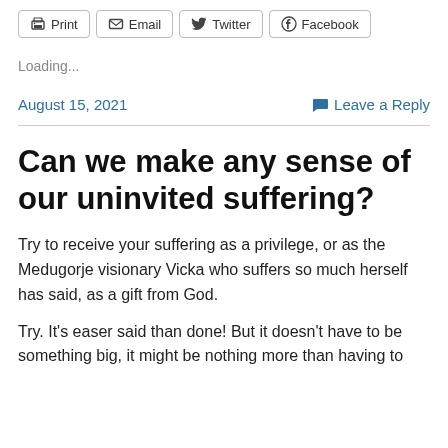Print  Email  Twitter  Facebook
Loading...
August 15, 2021    Leave a Reply
Can we make any sense of our uninvited suffering?
Try to receive your suffering as a privilege, or as the Medugorje visionary Vicka who suffers so much herself has said, as a gift from God.
Try. It's easer said than done! But it doesn't have to be something big, it might be nothing more than having to